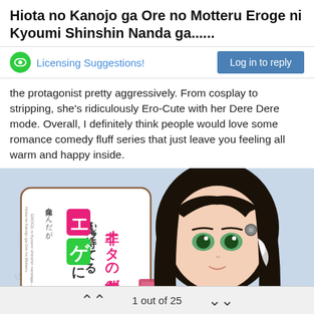Hiota no Kanojo ga Ore no Motteru Eroge ni Kyoumi Shinshin Nanda ga......
Licensing Suggestions!
Log in to reply
the protagonist pretty aggressively. From cosplay to stripping, she's ridiculously Ero-Cute with her Dere Dere mode. Overall, I definitely think people would love some romance comedy fluff series that just leave you feeling all warm and happy inside.
[Figure (illustration): Manga/light novel cover art showing an anime-style girl with long dark hair wearing a red outfit, holding a book. The cover shows Japanese text.]
1 out of 25